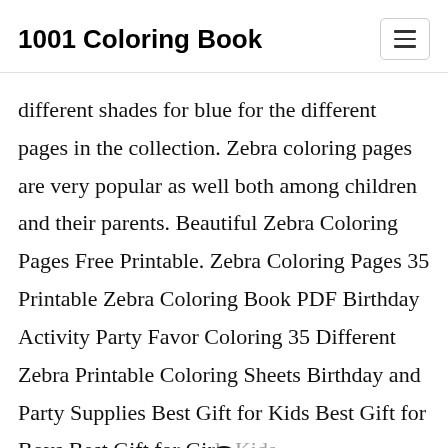1001 Coloring Book
different shades for blue for the different pages in the collection. Zebra coloring pages are very popular as well both among children and their parents. Beautiful Zebra Coloring Pages Free Printable. Zebra Coloring Pages 35 Printable Zebra Coloring Book PDF Birthday Activity Party Favor Coloring 35 Different Zebra Printable Coloring Sheets Birthday and Party Supplies Best Gift for Kids Best Gift for Boys Best Gift for Girls Kids coloring print